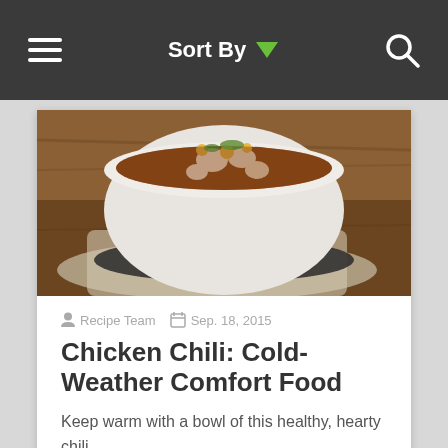Sort By
[Figure (photo): A white bowl of chicken chili with beans, corn, and broth on a wooden surface with a cloth napkin]
Recipe Team   Sep. 18, 2015
Chicken Chili: Cold-Weather Comfort Food
Keep warm with a bowl of this healthy, hearty chili.
[Figure (illustration): Facebook and Twitter social share buttons (dark circular icons)]